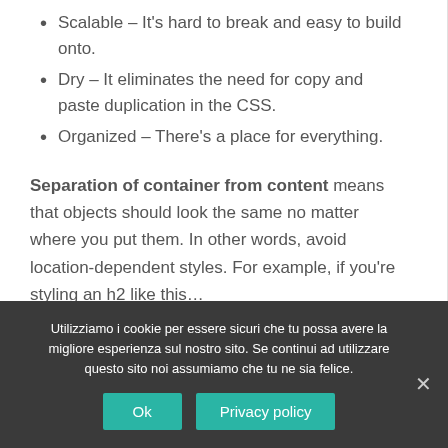Scalable – It's hard to break and easy to build onto.
Dry – It eliminates the need for copy and paste duplication in the CSS.
Organized – There's a place for everything.
Separation of container from content means that objects should look the same no matter where you put them. In other words, avoid location-dependent styles. For example, if you're styling an h2 like this…
Utilizziamo i cookie per essere sicuri che tu possa avere la migliore esperienza sul nostro sito. Se continui ad utilizzare questo sito noi assumiamo che tu ne sia felice.
Ok | Privacy policy